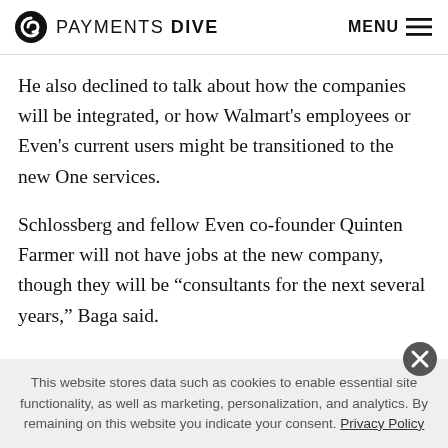PAYMENTS DIVE  MENU
He also declined to talk about how the companies will be integrated, or how Walmart’s employees or Even’s current users might be transitioned to the new One services.
Schlossberg and fellow Even co-founder Quinten Farmer will not have jobs at the new company, though they will be “consultants for the next several years,” Baga said.
This website stores data such as cookies to enable essential site functionality, as well as marketing, personalization, and analytics. By remaining on this website you indicate your consent. Privacy Policy